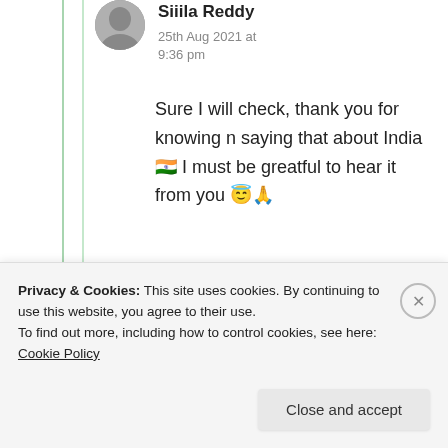Siiila Reddy
25th Aug 2021 at 9:36 pm
Sure I will check, thank you for knowing n saying that about India 🇮🇳 I must be greatful to hear it from you 😇🙏
★ Like
Advertisements
Privacy & Cookies: This site uses cookies. By continuing to use this website, you agree to their use.
To find out more, including how to control cookies, see here: Cookie Policy
Close and accept